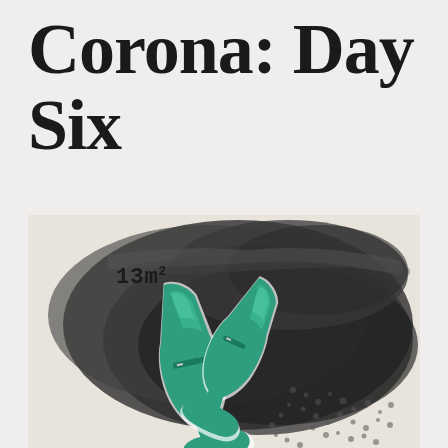Corona: Day Six
[Figure (illustration): Watercolor and ink illustration showing two green rubber Wellington boots on a dark ink-wash background. Text '13m²' with superscript '2' is written in the upper left corner in a typewriter-style font. The background features dark grey-black ink washes suggesting rain or shadow, with dot patterns at the bottom right.]